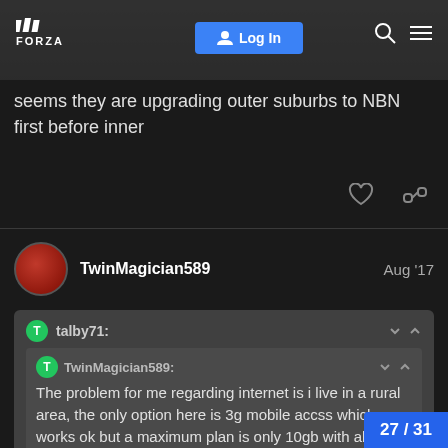Forza — Log In
seems they are upgrading outer suburbs to NBN first before inner
TwinMagician589   Aug '17
talby71: TwinMagician589: The problem for me regarding internet is i live in a rural area, the only option here is 3g mobile accss which works ok but a maximum plan is only 10gb with all e---- data being $10gb...so i purchased 3 p
27 / 31